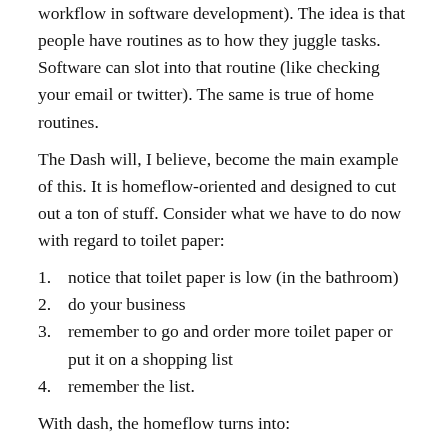workflow in software development). The idea is that people have routines as to how they juggle tasks. Software can slot into that routine (like checking your email or twitter). The same is true of home routines.
The Dash will, I believe, become the main example of this. It is homeflow-oriented and designed to cut out a ton of stuff. Consider what we have to do now with regard to toilet paper:
1. notice that toilet paper is low (in the bathroom)
2. do your business
3. remember to go and order more toilet paper or put it on a shopping list
4. remember the list.
With dash, the homeflow turns into: